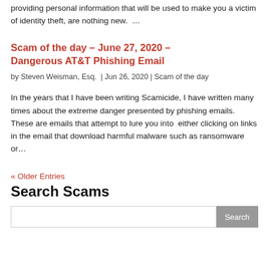providing personal information that will be used to make you a victim of identity theft, are nothing new.  …
Scam of the day – June 27, 2020 – Dangerous AT&T Phishing Email
by Steven Weisman, Esq.  |  Jun 26, 2020  |  Scam of the day
In the years that I have been writing Scamicide, I have written many times about the extreme danger presented by phishing emails.  These are emails that attempt to lure you into  either clicking on links in the email that download harmful malware such as ransomware or…
« Older Entries
Search Scams